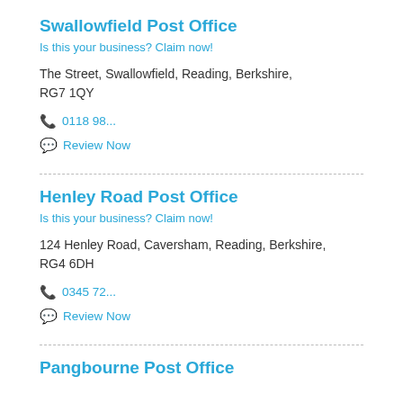Swallowfield Post Office
Is this your business? Claim now!
The Street, Swallowfield, Reading, Berkshire, RG7 1QY
📞 0118 98...
💬 Review Now
Henley Road Post Office
Is this your business? Claim now!
124 Henley Road, Caversham, Reading, Berkshire, RG4 6DH
📞 0345 72...
💬 Review Now
Pangbourne Post Office